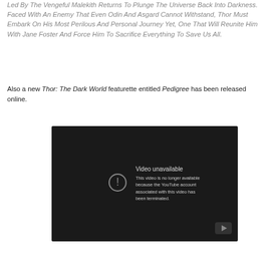Led By The Vengeful Malekith Returns To Plunge The Universe Back Into Darkness. Faced With An Enemy That Even Odin And Asgard Cannot Withstand, Thor Must Embark On His Most Perilous And Personal Journey Yet, One That Will Reunite Him With Jane Foster And Force Him To Sacrifice Everything To Save Us All.
Also a new Thor: The Dark World featurette entitled Pedigree has been released online.
[Figure (screenshot): Embedded YouTube video player showing 'Video unavailable' error message. The video is no longer available because the YouTube account associated with this video has been terminated. Dark background with warning icon and YouTube play button in bottom right corner.]